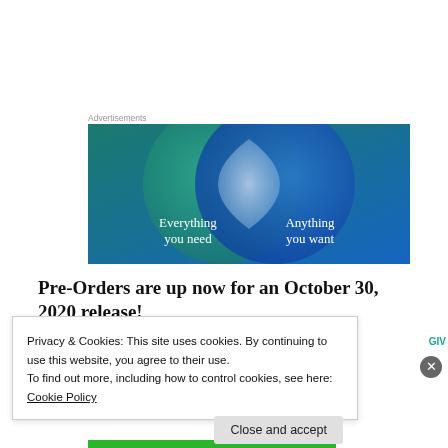Advertisements
[Figure (illustration): Advertisement banner showing two overlapping circles (Venn diagram style) on a blue/teal gradient background. Left circle is teal/green with text 'Everything you need', right circle is blue with text 'Anything you want'. The overlapping area is a lighter blue-white.]
Pre-Orders are up now for an October 30, 2020 release!
Privacy & Cookies: This site uses cookies. By continuing to use this website, you agree to their use.
To find out more, including how to control cookies, see here:
Cookie Policy
Close and accept